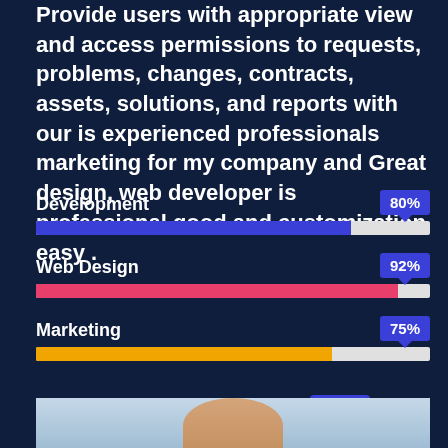Provide users with appropriate view and access permissions to requests, problems, changes, contracts, assets, solutions, and reports with our is experienced professionals marketing for my company and Great design, web developer is professional good and customization easy .
[Figure (bar-chart): Skills]
[Figure (photo): Photo of a person at the bottom of the page]